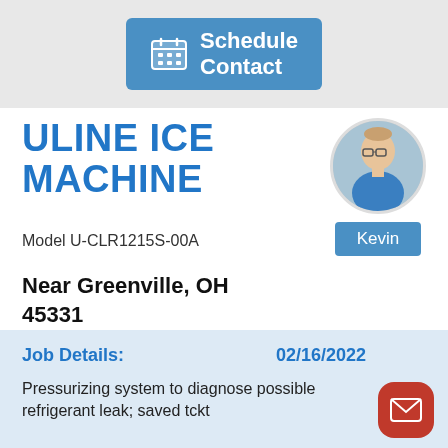[Figure (other): Blue 'Schedule Contact' button with calendar icon on gray background]
ULINE ICE MACHINE
Model U-CLR1215S-00A
[Figure (photo): Circular profile photo of a man named Kevin wearing glasses and a blue shirt]
Kevin
Near Greenville, OH 45331
Job Details:
02/16/2022
Pressurizing system to diagnose possible refrigerant leak; saved tckt
[Figure (other): Red rounded square mail/envelope icon button]